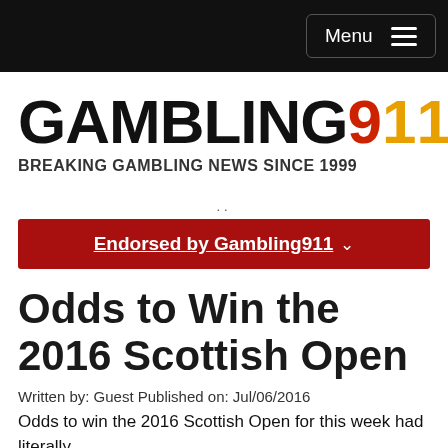Menu
[Figure (logo): Gambling911 logo with tagline BREAKING GAMBLING NEWS SINCE 1999]
..
Endorsed by Gambling911 ˅
Odds to Win the 2016 Scottish Open
Written by: Guest Published on: Jul/06/2016
Odds to win the 2016 Scottish Open for this week had literally ...